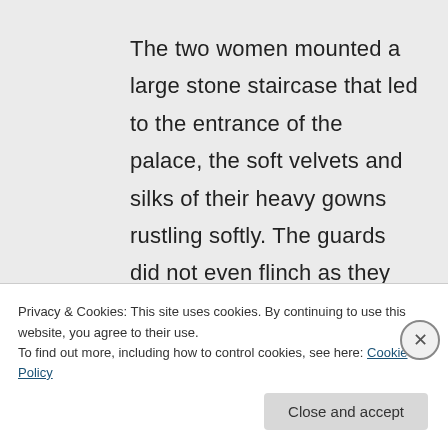The two women mounted a large stone staircase that led to the entrance of the palace, the soft velvets and silks of their heavy gowns rustling softly. The guards did not even flinch as they and other courtiers milled past into the grand display of festivity of light, colour and
Privacy & Cookies: This site uses cookies. By continuing to use this website, you agree to their use.
To find out more, including how to control cookies, see here: Cookie Policy